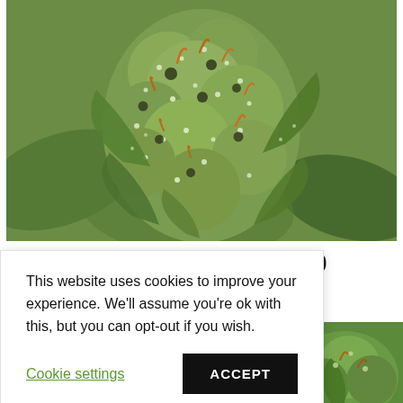[Figure (photo): Close-up macro photo of a cannabis bud with trichomes visible, green leaves with orange pistils, blurred green background]
ls – 10
This website uses cookies to improve your experience. We’ll assume you’re ok with this, but you can opt-out if you wish.
Cookie settings
ACCEPT
[Figure (photo): Partial view of cannabis plant close-up at bottom of page]